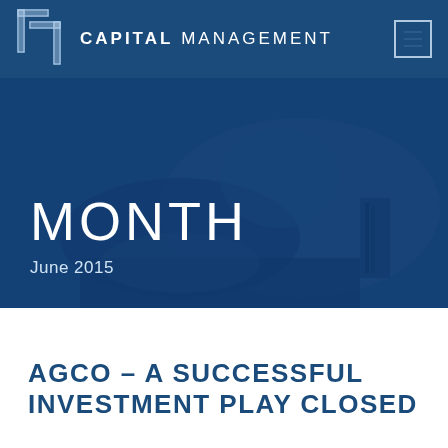T CAPITAL MANAGEMENT
[Figure (photo): Person working at desk, dark blue tinted overlay photo]
MONTH
June 2015
AGCO – A SUCCESSFUL INVESTMENT PLAY CLOSED